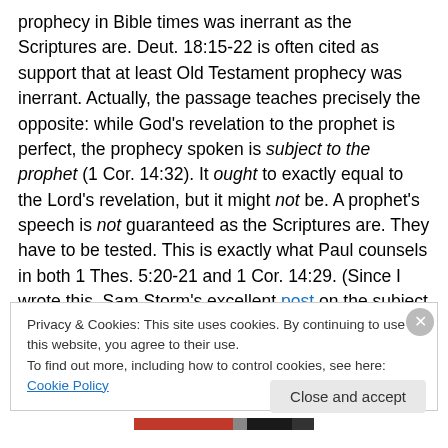prophecy in Bible times was inerrant as the Scriptures are. Deut. 18:15-22 is often cited as support that at least Old Testament prophecy was inerrant. Actually, the passage teaches precisely the opposite: while God's revelation to the prophet is perfect, the prophecy spoken is subject to the prophet (1 Cor. 14:32). It ought to exactly equal to the Lord's revelation, but it might not be. A prophet's speech is not guaranteed as the Scriptures are. They have to be tested. This is exactly what Paul counsels in both 1 Thes. 5:20-21 and 1 Cor. 14:29. (Since I wrote this, Sam Storm's excellent post on the subject has now appeared, and
Privacy & Cookies: This site uses cookies. By continuing to use this website, you agree to their use.
To find out more, including how to control cookies, see here: Cookie Policy
Close and accept